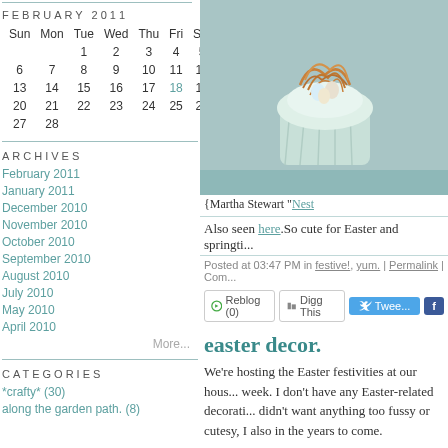FEBRUARY 2011
| Sun | Mon | Tue | Wed | Thu | Fri | Sat |
| --- | --- | --- | --- | --- | --- | --- |
|  |  | 1 | 2 | 3 | 4 | 5 |
| 6 | 7 | 8 | 9 | 10 | 11 | 12 |
| 13 | 14 | 15 | 16 | 17 | 18 | 19 |
| 20 | 21 | 22 | 23 | 24 | 25 | 26 |
| 27 | 28 |  |  |  |  |  |
ARCHIVES
February 2011
January 2011
December 2010
November 2010
October 2010
September 2010
August 2010
July 2010
May 2010
April 2010
More...
CATEGORIES
*crafty* (30)
along the garden path. (8)
[Figure (photo): Photo of a cupcake with noodle-like decoration on top, light blue/teal background, Martha Stewart 'Nest' cupcake]
{Martha Stewart "Nest
Also seen here.So cute for Easter and springti...
Posted at 03:47 PM in festive!, yum. | Permalink | Com...
Reblog (0)  Digg This  Tweet  f
easter decor.
We're hosting the Easter festivities at our hous... week. I don't have any Easter-related decorati... didn't want anything too fussy or cutesy, I also in the years to come.